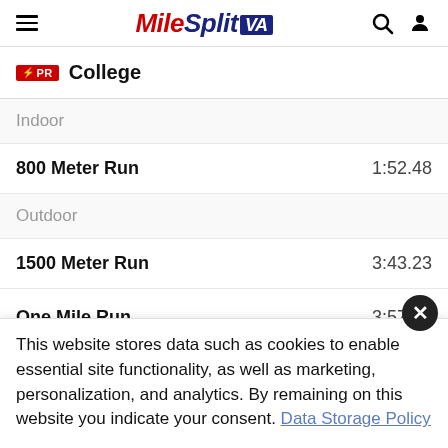MileSplit VA
PR College
Indoor
| Event | Time |
| --- | --- |
| 800 Meter Run | 1:52.48 |
| 1500 Meter Run | 3:43.23 |
| One Mile Run | 3:57.83 |
Outdoor
This website stores data such as cookies to enable essential site functionality, as well as marketing, personalization, and analytics. By remaining on this website you indicate your consent. Data Storage Policy